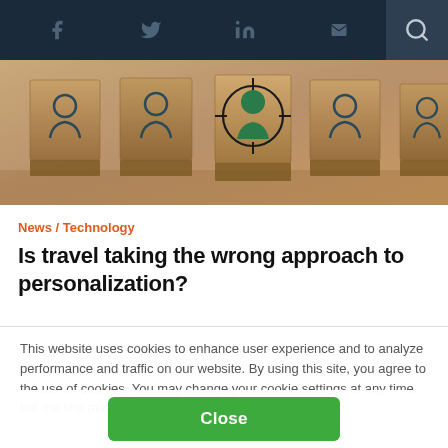Navigation bar with social icons: Facebook, Twitter, LinkedIn, Email, and Search
[Figure (photo): Hero image showing wooden blocks with person/user icons, one block highlighted with a green target/crosshair circle around a green person icon, representing customer targeting or personalization concept.]
News / Technology
Is travel taking the wrong approach to personalization?
This website uses cookies to enhance user experience and to analyze performance and traffic on our website. By using this site, you agree to the use of cookies. You may change your cookie settings at any time, but the site may not function properly.  Cookie Policy
Close